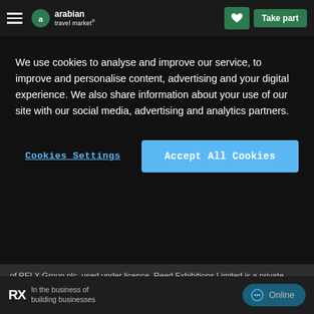arabian travel market | Take part
We use cookies to analyse and improve our service, to improve and personalise content, advertising and your digital experience. We also share information about your use of our site with our social media, advertising and analytics partners.
Cookies Settings | Accept All Cookies
of RELX Group plc, used under licence. Reed Exhibitions Limited is a private limited company, having its registered and principal office at Gateway House, 28 The Quadrant, Richmond, Surrey, TW9 1DN, registered in England and Wales with Company No. 678540. Business activity: Activities of exhibition and fair organisers VAT No. GB 232 4004 20 Tax ID No: 13960 00581
RX | In the business of building businesses | Online